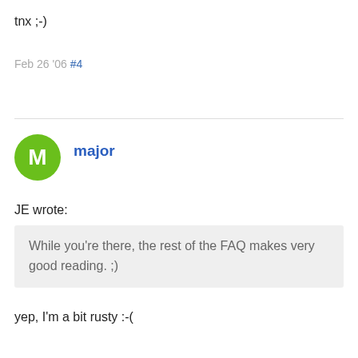tnx ;-)
Feb 26 '06 #4
major
JE wrote:
While you're there, the rest of the FAQ makes very good reading. ;)
yep, I'm a bit rusty :-(